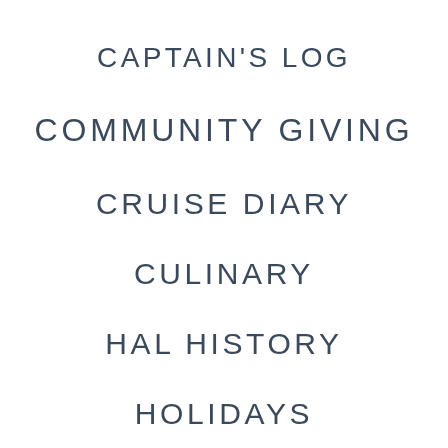CAPTAIN'S LOG
COMMUNITY GIVING
CRUISE DIARY
CULINARY
HAL HISTORY
HOLIDAYS